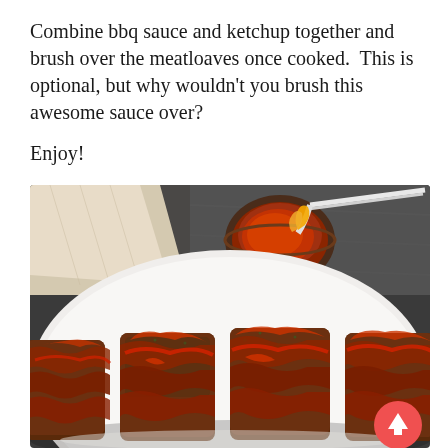Combine bbq sauce and ketchup together and brush over the meatloaves once cooked.  This is optional, but why wouldn't you brush this awesome sauce over?

Enjoy!
[Figure (photo): Overhead photo of bacon-wrapped mini meatloaves glazed with red BBQ sauce on a white oval platter, with a small bowl of BBQ sauce and a brush visible in the upper portion of the image. A linen napkin is visible in the top left corner. The background is a dark slate surface.]